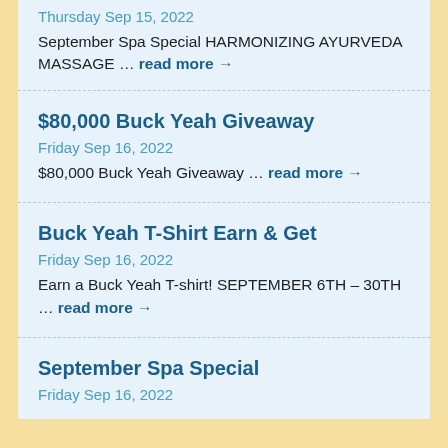Thursday Sep 15, 2022
September Spa Special HARMONIZING AYURVEDA MASSAGE … read more →
$80,000 Buck Yeah Giveaway
Friday Sep 16, 2022
$80,000 Buck Yeah Giveaway … read more →
Buck Yeah T-Shirt Earn & Get
Friday Sep 16, 2022
Earn a Buck Yeah T-shirt! SEPTEMBER 6TH – 30TH … read more →
September Spa Special
Friday Sep 16, 2022